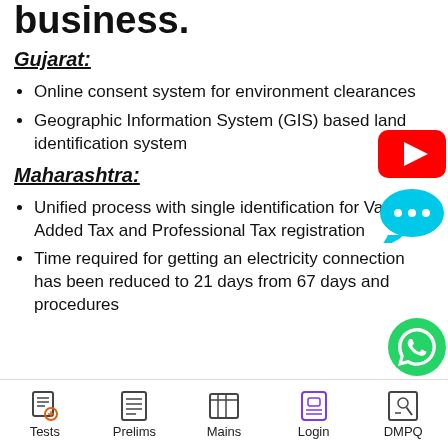business.
Gujarat:
Online consent system for environment clearances
Geographic Information System (GIS) based land identification system
Maharashtra:
Unified process with single identification for Value Added Tax and Professional Tax registration
Time required for getting an electricity connection has been reduced to 21 days from 67 days and procedures
Tests  Prelims  Mains  Login  DMPQ